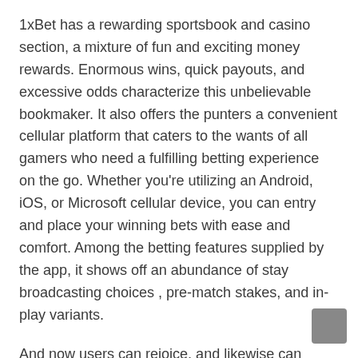1xBet has a rewarding sportsbook and casino section, a mixture of fun and exciting money rewards. Enormous wins, quick payouts, and excessive odds characterize this unbelievable bookmaker. It also offers the punters a convenient cellular platform that caters to the wants of all gamers who need a fulfilling betting experience on the go. Whether you're utilizing an Android, iOS, or Microsoft cellular device, you can entry and place your winning bets with ease and comfort. Among the betting features supplied by the app, it shows off an abundance of stay broadcasting choices , pre-match stakes, and in-play variants.
And now users can rejoice, and likewise can attempt all the functions themselves and discover out all some great benefits of the bookmaker software. First of all, the applying helps the streaming perform of all sporting occasions, e-sports, in addition to everyone's favourite on line casino in real-time. The 1xBet cell app hosts several funding choices to make a deposit. Below is